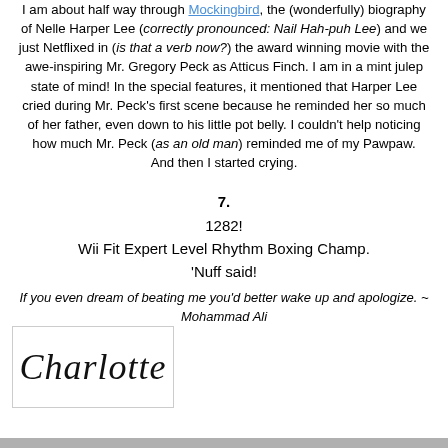I am about half way through Mockingbird, the (wonderfully) biography of Nelle Harper Lee (correctly pronounced: Nail Hah-puh Lee) and we just Netflixed in (is that a verb now?) the award winning movie with the awe-inspiring Mr. Gregory Peck as Atticus Finch. I am in a mint julep state of mind! In the special features, it mentioned that Harper Lee cried during Mr. Peck's first scene because he reminded her so much of her father, even down to his little pot belly. I couldn't help noticing how much Mr. Peck (as an old man) reminded me of my Pawpaw.
And then I started crying.
7.
1282!
Wii Fit Expert Level Rhythm Boxing Champ.
'Nuff said!
If you even dream of beating me you'd better wake up and apologize. ~ Mohammad Ali
[Figure (illustration): Handwritten cursive signature reading 'Charlotte' in black ink on white background, inside a light-bordered box.]